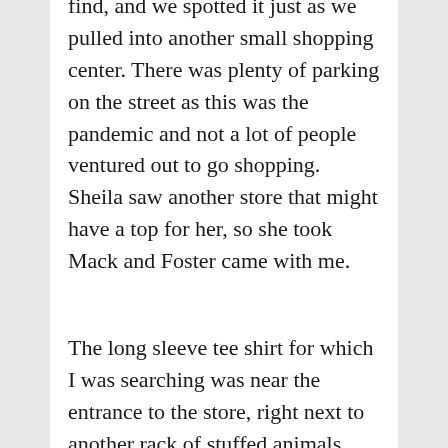find, and we spotted it just as we pulled into another small shopping center. There was plenty of parking on the street as this was the pandemic and not a lot of people ventured out to go shopping. Sheila saw another store that might have a top for her, so she took Mack and Foster came with me.
The long sleeve tee shirt for which I was searching was near the entrance to the store, right next to another rack of stuffed animals. Foster was